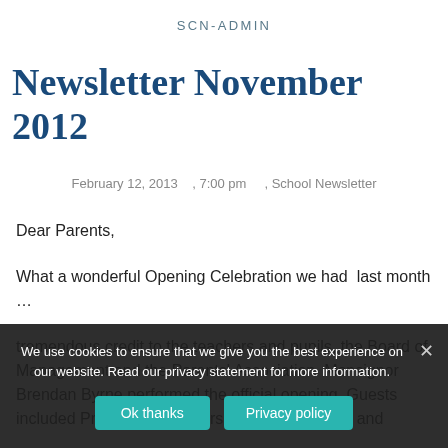SCN-ADMIN
Newsletter November 2012
February 12, 2013   , 7:00 pm     , School Newsletter
Dear Parents,
What a wonderful Opening Celebration we had  last month …
tremendous credit to the teachers and pupils, the Board of Management and the Parents' Association. Monsignor Brendan Byrne performed the official opening. Guests included Presentation Sisters, some past pupils and
We use cookies to ensure that we give you the best experience on our website. Read our privacy statement for more information.